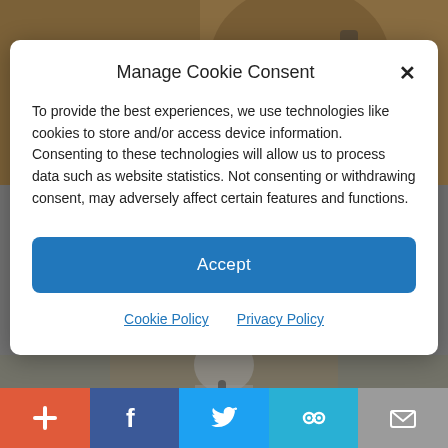[Figure (photo): Background photo of an elderly man on the phone, partially visible behind modal]
Manage Cookie Consent
To provide the best experiences, we use technologies like cookies to store and/or access device information. Consenting to these technologies will allow us to process data such as website statistics. Not consenting or withdrawing consent, may adversely affect certain features and functions.
Accept
Cookie Policy  Privacy Policy
[Figure (photo): Background photo bottom — person speaking at event, partially visible]
[Figure (infographic): Social share bar with five buttons: add (+), Facebook, Twitter, link/share, email]